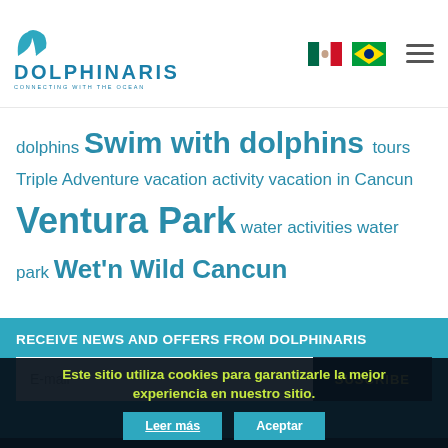[Figure (logo): Dolphinaris logo with teal whale tail icon and text DOLPHINARIS CONNECTING WITH THE OCEAN]
[Figure (illustration): Mexican flag emoji]
[Figure (illustration): Brazilian flag emoji]
dolphins Swim with dolphins tours Triple Adventure vacation activity vacation in Cancun Ventura Park water activities water park Wet'n Wild Cancun
RECEIVE NEWS AND OFFERS FROM DOLPHINARIS
E-mail
SUSCRIBE
Dolphinaris Card Industry Security Standards
Este sitio utiliza cookies para garantizarle la mejor experiencia en nuestro sitio.
Leer más
Aceptar